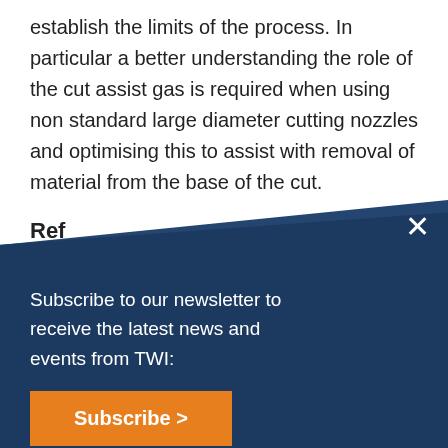establish the limits of the process. In particular a better understanding the role of the cut assist gas is required when using non standard large diameter cutting nozzles and optimising this to assist with removal of material from the base of the cut.
Ref
[Figure (other): Newsletter subscription overlay panel with dark navy background, close button (X), text 'Subscribe to our newsletter to receive the latest news and events from TWI:', and an orange Subscribe > button.]